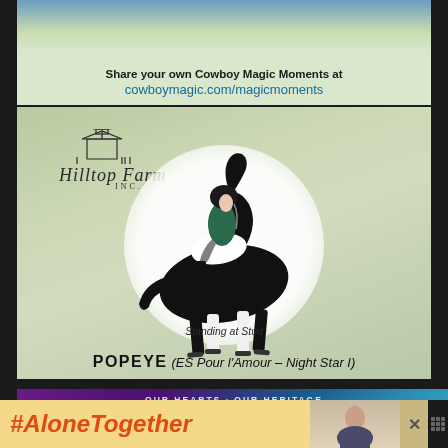[Figure (illustration): Cowboy Magic advertisement banner with green background. Text reads 'Share your own Cowboy Magic Moments at cowboymagic.com/magicmoments']
[Figure (photo): Hilltop Farm Inc. advertisement showing a rider on a black dressage horse in a spotlight circle. Logo at top left. Text: 'Standing at Stud POPEYE (ES Pour l'Amour - Night Star I)']
[Figure (illustration): FEI World Cup advertisement with purple-to-teal gradient. Text: 'OUR HEARTS · OUR HERITAGE' and 'FEI WORLD CUP']
[Figure (illustration): #AloneTogether banner ad in yellow/orange with a person photo on right and close button]